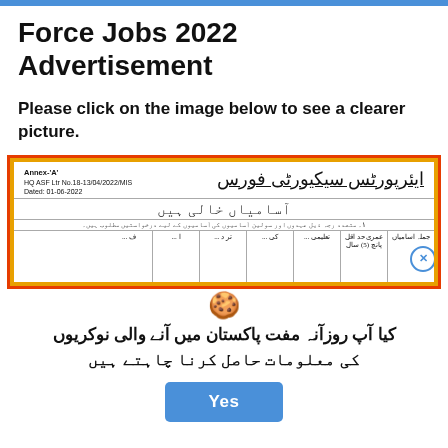Force Jobs 2022 Advertisement
Please click on the image below to see a clearer picture.
[Figure (screenshot): Airport Security Force job advertisement 2022 in Urdu, showing Annex-A header, HQ ASF Ltr No.18-13/04/2022/MIS, Dated: 01-06-2022, Urdu heading for vacancies, and a partial table of job positions.]
کیا آپ روزآنہ مفت پاکستان میں آنے والی نوکریوں کی معلومات حاصل کرنا چاہتے ہیں
Yes